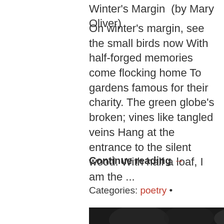Winter's Margin  (by Mary Oliver)
On winter's margin, see the small birds now With half-forged memories come flocking home To gardens famous for their charity. The green globe's broken; vines like tangled veins Hang at the entrance to the silent wood. With half a loaf, I am the ...
Continue reading →
Categories: poetry •
[Figure (photo): Black and white photograph, partially visible at the bottom of the page, showing a person or figure.]